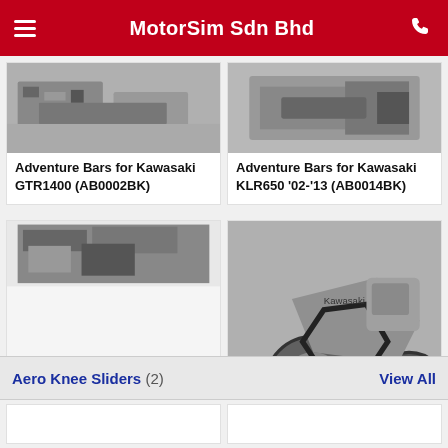MotorSim Sdn Bhd
Adventure Bars for Kawasaki GTR1400 (AB0002BK)
Adventure Bars for Kawasaki KLR650 '02-'13 (AB0014BK)
Engine Bars for Kawasaki Vulcan S '15- (AB0017BK)
Adventure Bars for Kawasaki Versys-X 300 / Versys-X 250 '17-
Aero Knee Sliders (2)
View All